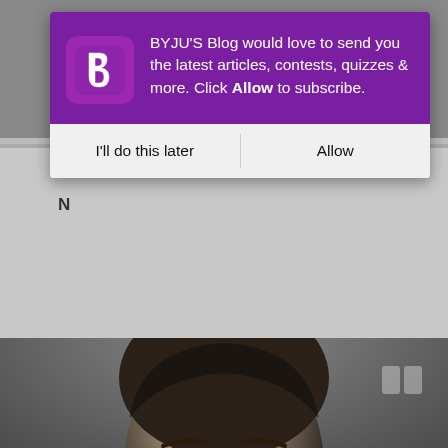[Figure (screenshot): BYJU'S Blog browser notification popup over a webpage showing a black and white portrait photo of Nikola Tesla. The popup has a purple top section with BYJU'S logo and notification text, and a white bottom section with two buttons: 'I'll do this later' and 'Allow'.]
BYJU'S Blog would love to send you the latest articles, contests, quizzes & more. Click Allow to subscribe.
I'll do this later
Allow